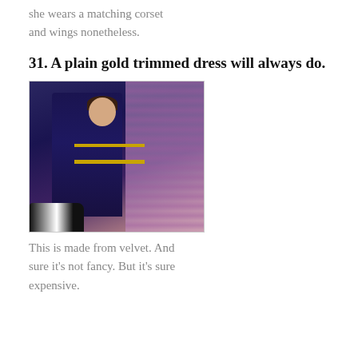she wears a matching corset and wings nonetheless.
31. A plain gold trimmed dress will always do.
[Figure (photo): A young woman wearing a long dark navy blue velvet dress with gold trim at the chest and a gold belt, standing in front of purple curtains. A black and white dog is visible at her feet.]
This is made from velvet. And sure it's not fancy. But it's sure expensive.